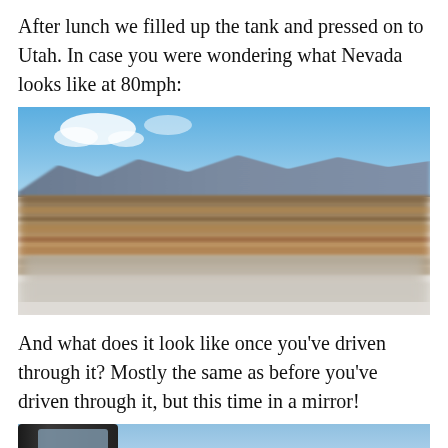After lunch we filled up the tank and pressed on to Utah. In case you were wondering what Nevada looks like at 80mph:
[Figure (photo): Motion-blurred photo taken from a moving car window at 80mph showing the Nevada desert landscape. The foreground is a heavily blurred car door/window surface in light grey. The middle ground shows brown/tan desert terrain with horizontal motion blur lines. The background shows distant mountain ranges and a bright blue sky with a few white clouds.]
And what does it look like once you've driven through it? Mostly the same as before you've driven through it, but this time in a mirror!
[Figure (photo): Partial photo of a car side mirror reflecting a Nevada desert scene, showing a dark mirror frame against a light blue sky background.]